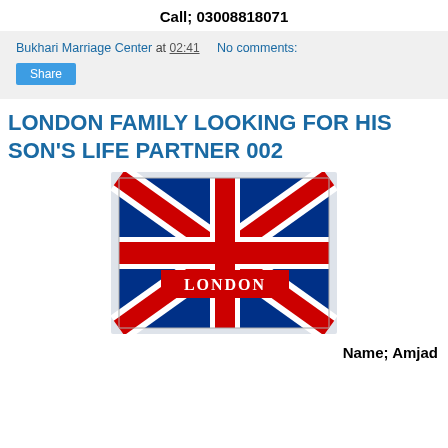Call; 03008818071
Bukhari Marriage Center at 02:41   No comments:
Share
LONDON FAMILY LOOKING FOR HIS SON'S LIFE PARTNER 002
[Figure (photo): UK Union Jack flag with 'London' text printed on a red horizontal band across the center]
Name; Amjad